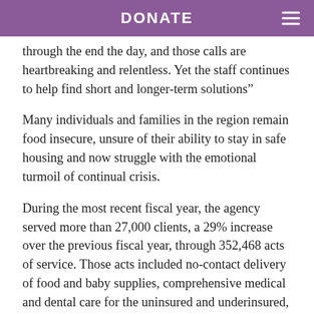DONATE
through the end the day, and those calls are heartbreaking and relentless. Yet the staff continues to help find short and longer-term solutions”
Many individuals and families in the region remain food insecure, unsure of their ability to stay in safe housing and now struggle with the emotional turmoil of continual crisis.
During the most recent fiscal year, the agency served more than 27,000 clients, a 29% increase over the previous fiscal year, through 352,468 acts of service. Those acts included no-contact delivery of food and baby supplies, comprehensive medical and dental care for the uninsured and underinsured, and counseling services, now open through tele-therapy to all eligible Pennsylvanians.
“They they really is at the time of the circle...” said S...